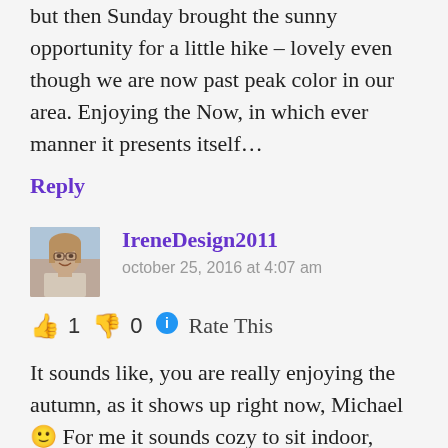but then Sunday brought the sunny opportunity for a little hike – lovely even though we are now past peak color in our area. Enjoying the Now, in which ever manner it presents itself…
Reply
IreneDesign2011
october 25, 2016 at 4:07 am
👍 1 👎 0 🔵 Rate This
It sounds like, you are really enjoying the autumn, as it shows up right now, Michael 🙂 For me it sounds cozy to sit indoor, while you can hear either the wind and/or the rain outside and then you sit inside in front of the wood stove. It didn't at the heating, in a natural